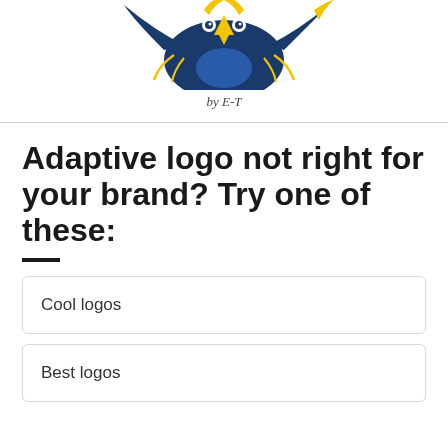[Figure (logo): Colorful illustrated sports-style mascot logo (eagle/bird) with yellow and blue colors, partially cropped at top]
by E-T
Adaptive logo not right for your brand? Try one of these:
Cool logos
Best logos